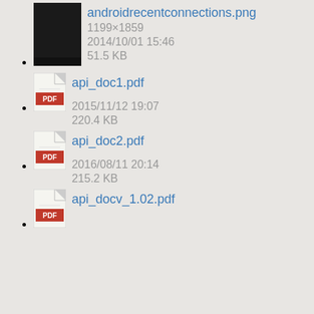[Figure (screenshot): Thumbnail of androidrecentconnections.png — a dark/black screenshot]
androidrecentconnections.png
1199×1859
2014/10/01 15:46
51.5 KB
[Figure (illustration): PDF file icon for api_doc1.pdf]
api_doc1.pdf
2015/11/12 19:07
220.4 KB
[Figure (illustration): PDF file icon for api_doc2.pdf]
api_doc2.pdf
2016/08/11 20:14
215.2 KB
[Figure (illustration): PDF file icon for api_docv_1.02.pdf]
api_docv_1.02.pdf